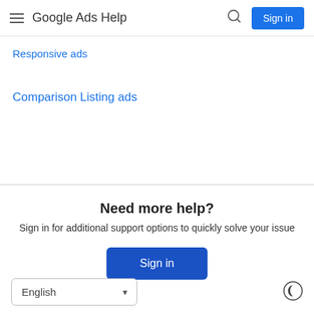Google Ads Help
Responsive ads
Comparison Listing ads
Need more help?
Sign in for additional support options to quickly solve your issue
Sign in
English